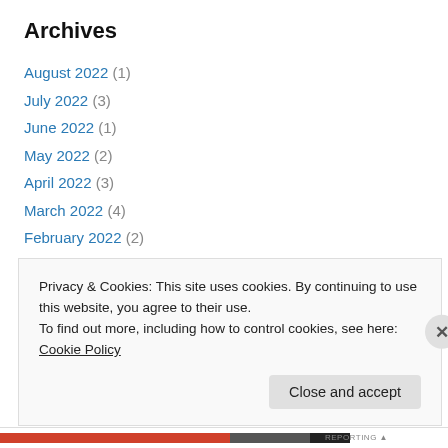Archives
August 2022 (1)
July 2022 (3)
June 2022 (1)
May 2022 (2)
April 2022 (3)
March 2022 (4)
February 2022 (2)
January 2022 (1)
December 2021 (1)
November 2021 (5)
September 2021 (1)
Privacy & Cookies: This site uses cookies. By continuing to use this website, you agree to their use.
To find out more, including how to control cookies, see here: Cookie Policy
Close and accept